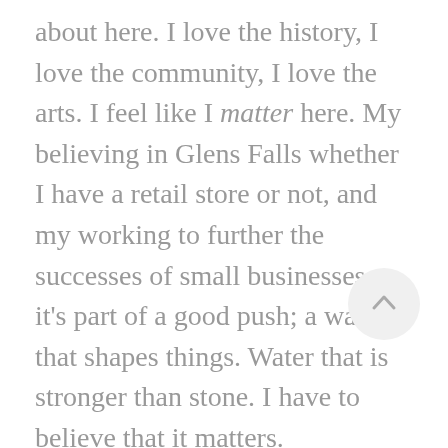about here. I love the history, I love the community, I love the arts. I feel like I matter here. My believing in Glens Falls whether I have a retail store or not, and my working to further the successes of small businesses — it's part of a good push; a wave that shapes things. Water that is stronger than stone. I have to believe that it matters.
I console myself in the thought that The Advokate Boutique mattered, even if it was only in that space for a year and has an uncertain future. It made a few [...]